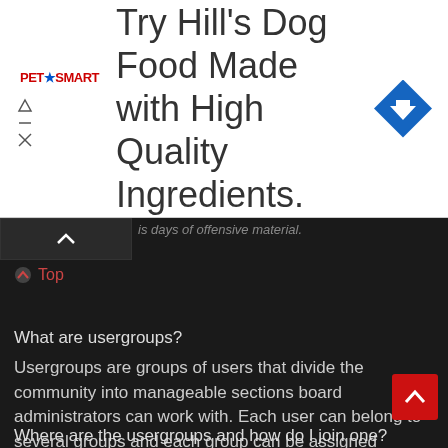[Figure (other): PetSmart advertisement banner: 'Try Hill's Dog Food Made with High Quality Ingredients.' with PetSmart logo on left and blue diamond arrow icon on right]
is days of offensive material.
Top
What are usergroups?
Usergroups are groups of users that divide the community into manageable sections board administrators can work with. Each user can belong to several groups and each group can be assigned individual permissions. This provides an easy way for administrators to change permissions for many users at once, such as changing moderator permissions or granting users access to a private forum.
Top
Where are the usergroups and how do I join one?